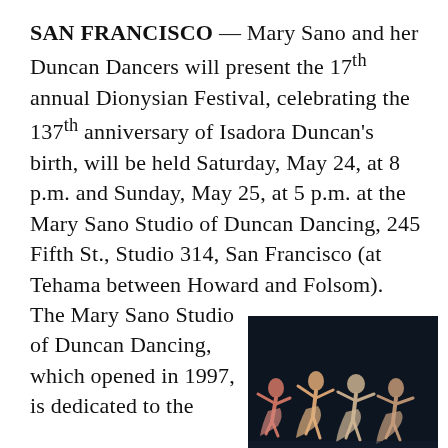SAN FRANCISCO — Mary Sano and her Duncan Dancers will present the 17th annual Dionysian Festival, celebrating the 137th anniversary of Isadora Duncan's birth, will be held Saturday, May 24, at 8 p.m. and Sunday, May 25, at 5 p.m. at the Mary Sano Studio of Duncan Dancing, 245 Fifth St., Studio 314, San Francisco (at Tehama between Howard and Folsom).
The Mary Sano Studio of Duncan Dancing, which opened in 1997, is dedicated to the
[Figure (photo): Photograph of dancers in flowing costumes performing Duncan dance on a dark stage background]